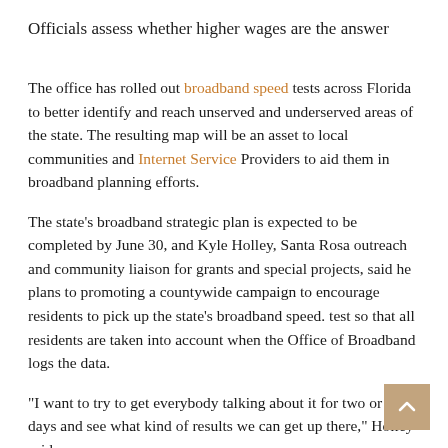Officials assess whether higher wages are the answer
The office has rolled out broadband speed tests across Florida to better identify and reach unserved and underserved areas of the state. The resulting map will be an asset to local communities and Internet Service Providers to aid them in broadband planning efforts.
The state's broadband strategic plan is expected to be completed by June 30, and Kyle Holley, Santa Rosa outreach and community liaison for grants and special projects, said he plans to promoting a countywide campaign to encourage residents to pick up the state's broadband speed. test so that all residents are taken into account when the Office of Broadband logs the data.
“I want to try to get everybody talking about it for two or three days and see what kind of results we can get up there,” Holley said.